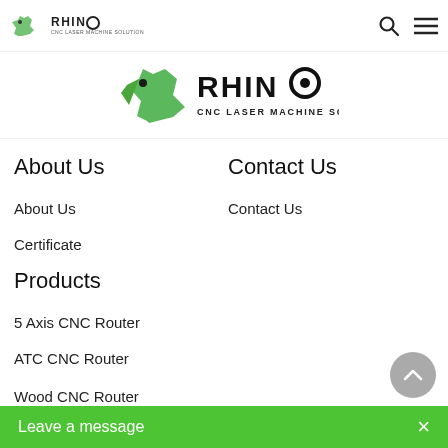RHINO CNC LASER MACHINE SOLUTION — navigation bar with search and menu icons
[Figure (logo): RHINO CNC Laser Machine Solution logo — green rhino graphic with RHINO text and CNC LASER MACHINE SOLUTION tagline]
About Us
Contact Us
About Us
Contact Us
Certificate
Products
5 Axis CNC Router
ATC CNC Router
Wood CNC Router
Leave a message  ×